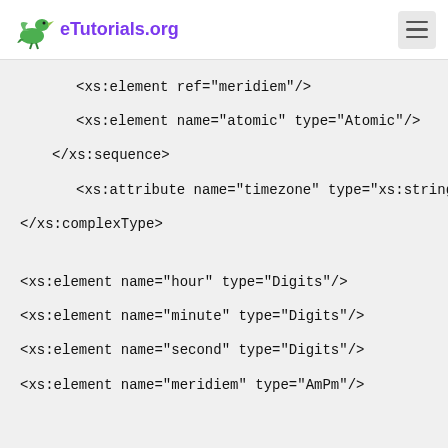eTutorials.org
<xs:element ref="meridiem"/>
<xs:element name="atomic" type="Atomic"/>
</xs:sequence>
<xs:attribute name="timezone" type="xs:string" us
</xs:complexType>
<xs:element name="hour" type="Digits"/>
<xs:element name="minute" type="Digits"/>
<xs:element name="second" type="Digits"/>
<xs:element name="meridiem" type="AmPm"/>